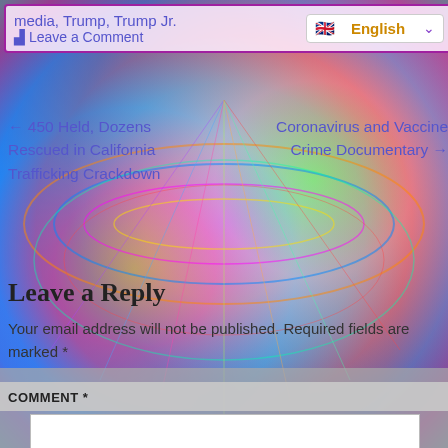media, Trump, Trump Jr. ☰ Leave a Comment
🇬🇧 English ▾
← 450 Held, Dozens Rescued in California Trafficking Crackdown
Coronavirus and Vaccine Crime Documentary →
Leave a Reply
Your email address will not be published. Required fields are marked *
COMMENT *